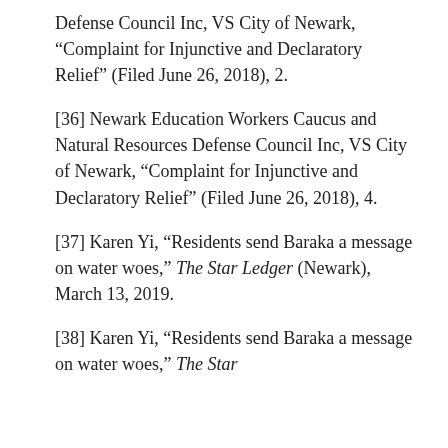Defense Council Inc, VS City of Newark, “Complaint for Injunctive and Declaratory Relief” (Filed June 26, 2018), 2.
[36] Newark Education Workers Caucus and Natural Resources Defense Council Inc, VS City of Newark, “Complaint for Injunctive and Declaratory Relief” (Filed June 26, 2018), 4.
[37] Karen Yi, “Residents send Baraka a message on water woes,” The Star Ledger (Newark), March 13, 2019.
[38] Karen Yi, “Residents send Baraka a message on water woes,” The Star